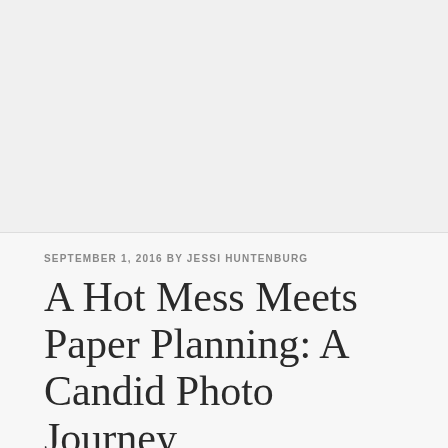[Figure (photo): Large image area at the top of the page, light gray placeholder]
SEPTEMBER 1, 2016 BY JESSI HUNTENBURG
A Hot Mess Meets Paper Planning: A Candid Photo Journey